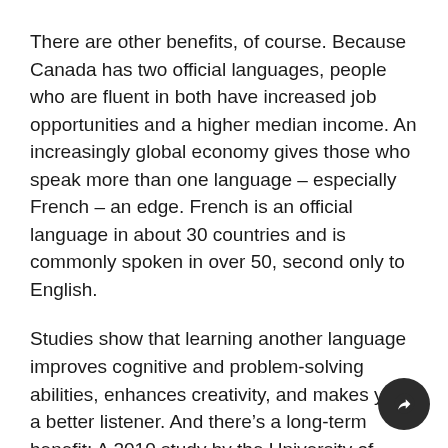There are other benefits, of course. Because Canada has two official languages, people who are fluent in both have increased job opportunities and a higher median income. An increasingly global economy gives those who speak more than one language – especially French – an edge. French is an official language in about 30 countries and is commonly spoken in over 50, second only to English.
Studies show that learning another language improves cognitive and problem-solving abilities, enhances creativity, and makes you a better listener. And there's a long-term benefit: A 2010 study by the University of Toronto-affiliated Rotman Research Institute shows that bilingualism can delay the onset of Alzheimer's symptoms for as much as five years.
Despite all the benefits, Jo-Anne, an anglophone, was intimidated about enrolling Noah at Quatre-Rivières. All correspondence, including parent-teacher interviews, is